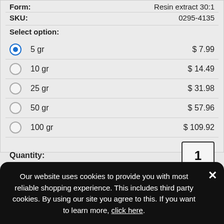Form: Resin extract 30:1
SKU: 0295-4135
Select option:
5 gr  $7.99
10 gr  $14.49
25 gr  $31.98
50 gr  $57.96
100 gr  $109.92
Quantity: 1  max: 1
ADD TO ORDER
Our website uses cookies to provide you with most reliable shopping experience. This includes third party cookies. By using our site you agree to this. If you want to learn more, click here.